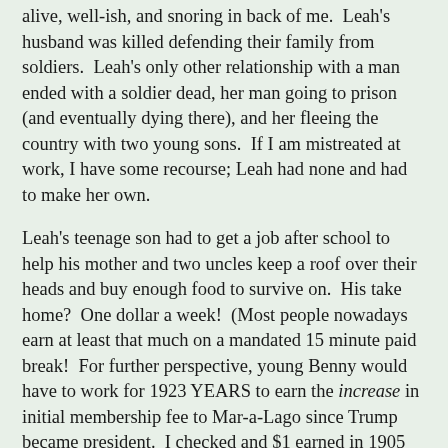alive, well-ish, and snoring in back of me.  Leah's husband was killed defending their family from soldiers.  Leah's only other relationship with a man ended with a soldier dead, her man going to prison (and eventually dying there), and her fleeing the country with two young sons.  If I am mistreated at work, I have some recourse; Leah had none and had to make her own.
Leah's teenage son had to get a job after school to help his mother and two uncles keep a roof over their heads and buy enough food to survive on.  His take home?  One dollar a week!  (Most people nowadays earn at least that much on a mandated 15 minute paid break!  For further perspective, young Benny would have to work for 1923 YEARS to earn the increase in initial membership fee to Mar-a-Lago since Trump became president.  I checked and $1 earned in 1905 would be like earning $26.05 today, which means it would still be a crappy weekly wage.)
The lives of most immigrants to the US then, well...sucked.  They left war, persecution, famine in their native countries to come to the USA - where the streets were said to be 'paved with gold'.  But 'happily ever after' didn't quite turn out that way.  The strong preyed on the weak.  Immigrants born in another country often had